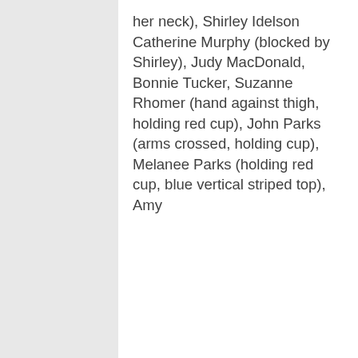her neck), Shirley Idelson Catherine Murphy (blocked by Shirley), Judy MacDonald, Bonnie Tucker, Suzanne Rhomer (hand against thigh, holding red cup), John Parks (arms crossed, holding cup), Melanee Parks (holding red cup, blue vertical striped top), Amy